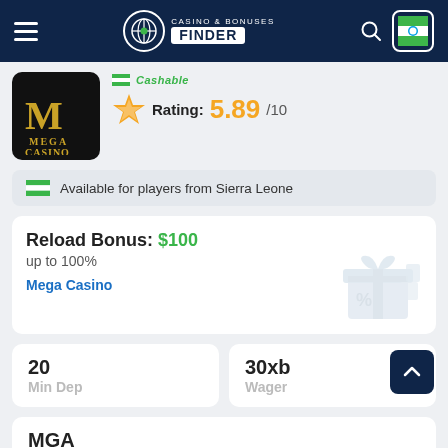Casino & Bonuses Finder
Cashable
Rating: 5.89/10
Available for players from Sierra Leone
Reload Bonus: $100 up to 100%
Mega Casino
20
Min Dep
30xb
Wager
MGA
License
GET BONUS